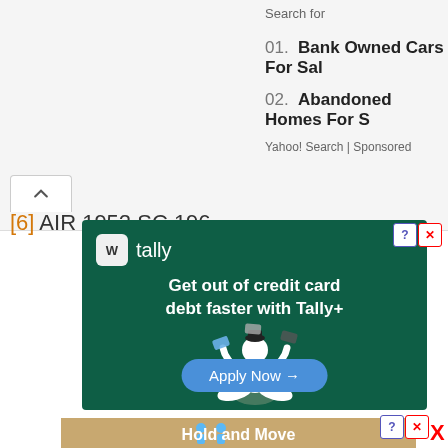Search for
01. Bank Owned Cars For Sale
02. Abandoned Homes For Sale
Yahoo! Search | Sponsored
[6] AIR 1952 SC 196
[Figure (other): Tally advertisement — dark green background with Tally logo, text 'Get out of credit card debt faster with Tally+', illustrated person meditating with credit cards, and 'Apply Now' button]
[Figure (other): Bottom advertisement banner — 'Hold and Move' with blue figure icons on sandy background]